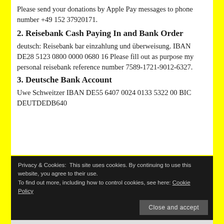Please send your donations by Apple Pay messages to phone number +49 152 37920171.
2. Reisebank Cash Paying In and Bank Order
deutsch: Reisebank bar einzahlung und überweisung. IBAN DE28 5123 0800 0000 0680 16 Please fill out as purpose my personal reisebank reference number 7589-1721-9012-6327.
3. Deutsche Bank Account
Uwe Schweitzer IBAN DE55 6407 0024 0133 5322 00 BIC DEUTDEDB640
Privacy & Cookies:  This site uses cookies. By continuing to use this website, you agree to their use.
To find out more, including how to control cookies, see here: Cookie Policy
Close and accept